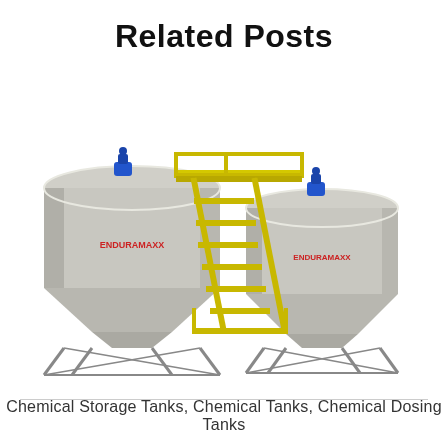Related Posts
[Figure (illustration): 3D rendering of two large grey conical-bottom chemical storage/dosing tanks (branded ENDURAMAXX) on metal support frames, connected by a yellow safety staircase and handrail platform with a blue motor/mixer on top of each tank.]
Chemical Storage Tanks, Chemical Tanks, Chemical Dosing Tanks